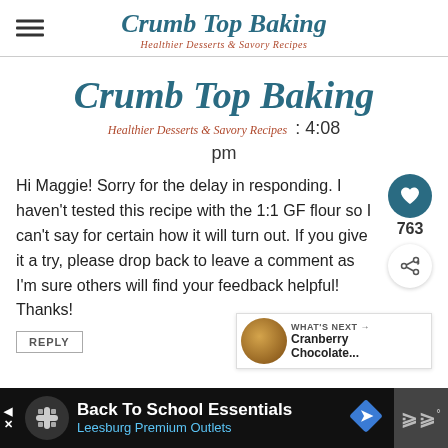Crumb Top Baking — Healthier Desserts & Savory Recipes
Crumb Top Baking
Healthier Desserts & Savory Recipes : 4:08 pm
Hi Maggie! Sorry for the delay in responding. I haven't tested this recipe with the 1:1 GF flour so I can't say for certain how it will turn out. If you give it a try, please drop back to leave a comment as I'm sure others will find your feedback helpful! Thanks!
REPLY
WHAT'S NEXT → Cranberry Chocolate...
Back To School Essentials Leesburg Premium Outlets